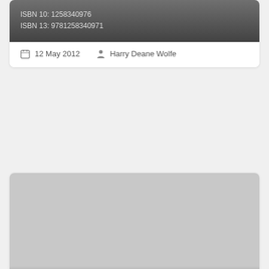ISBN 10: 1258340976
ISBN 13: 9781258340971
12 May 2012  Harry Deane Wolfe
Medical Epidemiology: Population Health and Effective Health Care, Fifth Edition
ISBN 10: 0071822720
ISBN 13: 9780071822725
16 Jul 2015  Raymond Greenberg